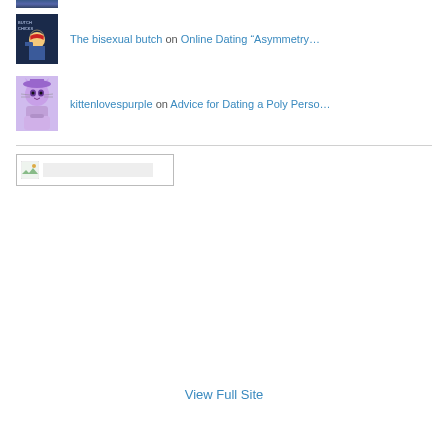[Figure (photo): Partial avatar image at top, cropped]
The bisexual butch on Online Dating “Asymmetry…
[Figure (illustration): Avatar showing Butch Chicks styled illustration with Rosie the Riveter figure]
kittenlovespurple on Advice for Dating a Poly Perso…
[Figure (illustration): Avatar showing cartoon purple cat character with bag]
[Figure (screenshot): Small placeholder image box with icon]
View Full Site